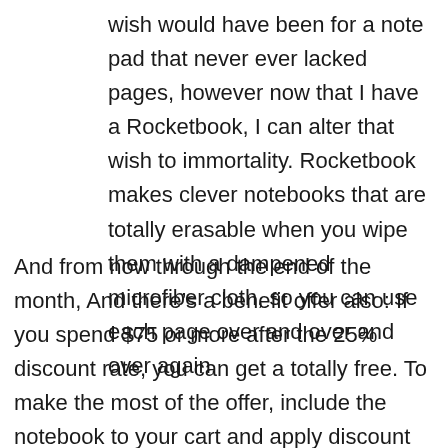wish would have been for a note pad that never ever lacked pages, however now that I have a Rocketbook, I can alter that wish to immortality. Rocketbook makes clever notebooks that are totally erasable when you wipe them with a dampened microfiber cloth, so you can use each page over and over and over again.
And from now through the end of the month, And there's a benefit offer also: If you spend $75 or more after the 25% discount rate, you can get a totally free. To make the most of the offer, include the notebook to your cart and apply discount coupon code at